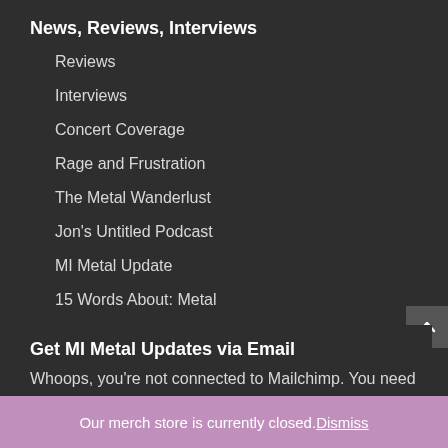News, Reviews, Interviews
Reviews
Interviews
Concert Coverage
Rage and Frustration
The Metal Wanderlust
Jon's Untitled Podcast
MI Metal Update
15 Words About: Metal
Get MI Metal Updates via Email
Whoops, you're not connected to Mailchimp. You need
Our merch store is currently closed. Dismiss